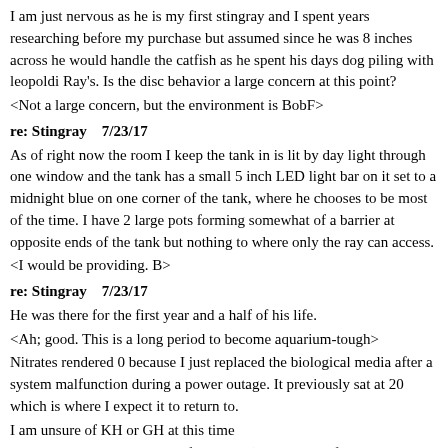I am just nervous as he is my first stingray and I spent years researching before my purchase but assumed since he was 8 inches across he would handle the catfish as he spent his days dog piling with leopoldi Ray's. Is the disc behavior a large concern at this point?
<Not a large concern, but the environment is BobF>
re: Stingray    7/23/17
As of right now the room I keep the tank in is lit by day light through one window and the tank has a small 5 inch LED light bar on it set to a midnight blue on one corner of the tank, where he chooses to be most of the time. I have 2 large pots forming somewhat of a barrier at opposite ends of the tank but nothing to where only the ray can access.
<I would be providing. B>
re: Stingray    7/23/17
He was there for the first year and a half of his life.
<Ah; good. This is a long period to become aquarium-tough>
Nitrates rendered 0 because I just replaced the biological media after a system malfunction during a power outage. It previously sat at 20 which is where I expect it to return to.
I am unsure of KH or GH at this time
<I'd be measuring; lowering if too high (by addition of less hard water). Bob Fenner>
re: Stingray    7/23/17
What could you recommend that I construct or purchase that only the ray can access?